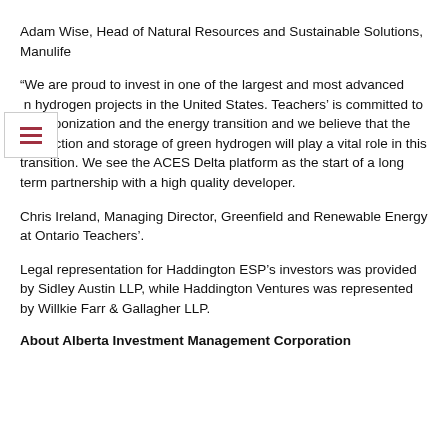Adam Wise, Head of Natural Resources and Sustainable Solutions, Manulife
“We are proud to invest in one of the largest and most advanced green hydrogen projects in the United States. Teachers’ is committed to decarbonization and the energy transition and we believe that the production and storage of green hydrogen will play a vital role in this transition. We see the ACES Delta platform as the start of a long term partnership with a high quality developer.
Chris Ireland, Managing Director, Greenfield and Renewable Energy at Ontario Teachers’.
Legal representation for Haddington ESP’s investors was provided by Sidley Austin LLP, while Haddington Ventures was represented by Willkie Farr & Gallagher LLP.
About Alberta Investment Management Corporation